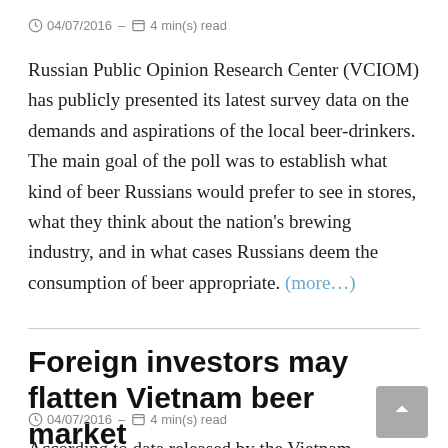04/07/2016 – 4 min(s) read
Russian Public Opinion Research Center (VCIOM) has publicly presented its latest survey data on the demands and aspirations of the local beer-drinkers. The main goal of the poll was to establish what kind of beer Russians would prefer to see in stores, what they think about the nation's brewing industry, and in what cases Russians deem the consumption of beer appropriate. (more…)
Foreign investors may flatten Vietnam beer market
04/07/2016 – 4 min(s) read
According to data released by the Vietnam Industry…